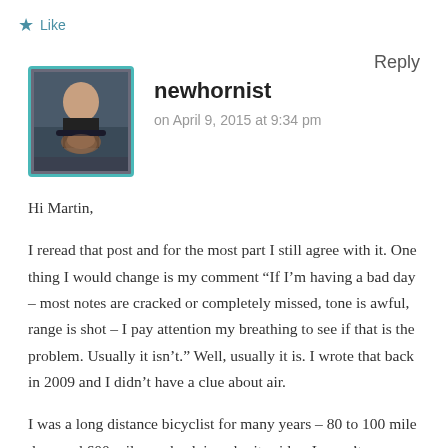★ Like
Reply
[Figure (photo): Avatar photo of newhornist, showing a person holding a French horn instrument, with a teal/cyan border]
newhornist
on April 9, 2015 at 9:34 pm
Hi Martin,
I reread that post and for the most part I still agree with it. One thing I would change is my comment “If I’m having a bad day – most notes are cracked or completely missed, tone is awful, range is shot – I pay attention my breathing to see if that is the problem. Usually it isn’t.” Well, usually it is. I wrote that back in 2009 and I didn’t have a clue about air.

I was a long distance bicyclist for many years – 80 to 100 mile days and 600 mile weeks doing charity rides. I wasn’t as methodical as you describe but in general I followed the concept of working